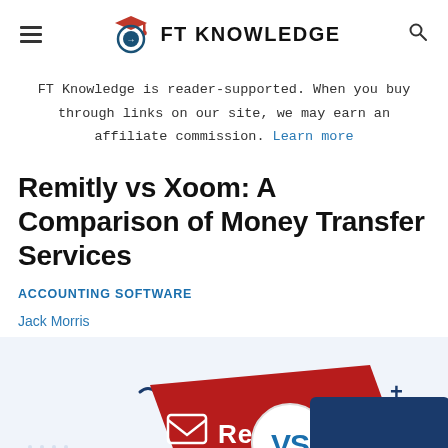FT KNOWLEDGE
FT Knowledge is reader-supported. When you buy through links on our site, we may earn an affiliate commission. Learn more
Remitly vs Xoom: A Comparison of Money Transfer Services
ACCOUNTING SOFTWARE
Jack Morris
[Figure (illustration): Hero image showing Remitly vs Xoom comparison graphic with red Remitly card and blue background, with 'VS' in the center circle]